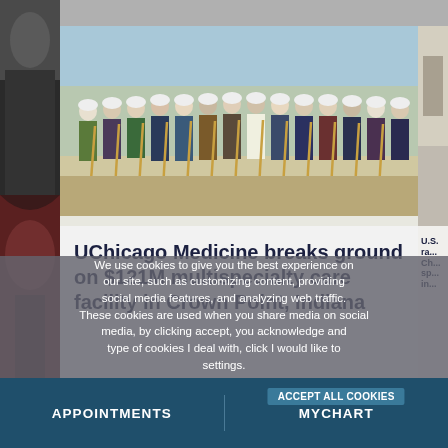[Figure (photo): Groundbreaking ceremony with many people in hard hats holding gold shovels at a construction site]
UChicago Medicine breaks ground on $121M multispecialty care facility in Crown Point, Indiana
[Figure (photo): Partial view of another story with outdoor scene]
U.S. ra... Ch... sp... in...
We use cookies to give you the best experience on our site, such as customizing content, providing social media features, and analyzing web traffic. These cookies are used when you share media on social media, click "I would like to manage the types of cookies I deal with, click I would like to...
APPOINTMENTS   MYCHART